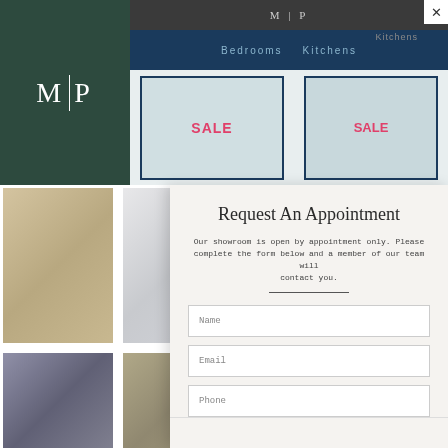[Figure (photo): MP Kitchens showroom exterior with dark blue storefront, MP logo sign, and SALE signs in window]
[Figure (logo): M|P logo in white text on dark green background]
[Figure (photo): Four interior design photos arranged in 2x2 grid showing kitchen/bedroom furniture]
Request An Appointment
Our showroom is open by appointment only. Please complete the form below and a member of our team will contact you.
Name
Email
Phone